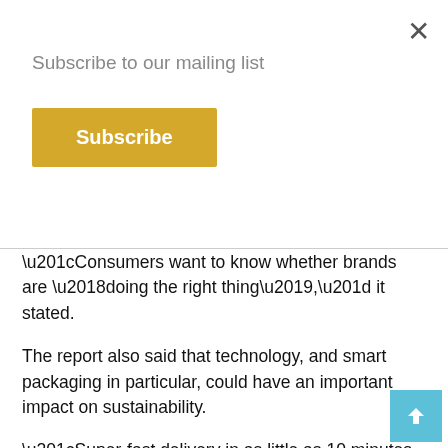Subscribe to our mailing list
Subscribe
“Consumers want to know whether brands are ‘doing the right thing’,” it stated.
The report also said that technology, and smart packaging in particular, could have an important impact on sustainability.
“Super-fast delivery in as little as 10 minutes is expected by 2025, changing consumer behaviour to buy more frequently and in smaller amounts, adding more complexity to the logistics.
“Supply chains will continue to be transformed by a raft of technologies, notably radio-frequency identification (RFID) and